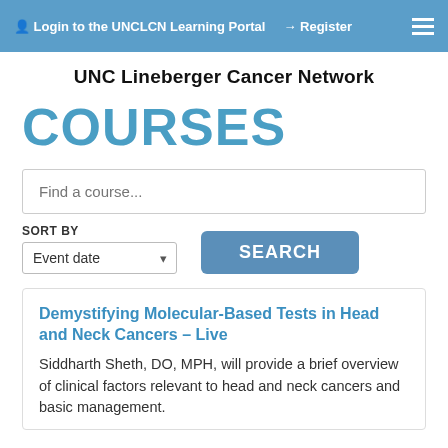Login to the UNCLCN Learning Portal  Register
UNC Lineberger Cancer Network
COURSES
Find a course...
SORT BY Event date
SEARCH
Demystifying Molecular-Based Tests in Head and Neck Cancers – Live
Siddharth Sheth, DO, MPH, will provide a brief overview of clinical factors relevant to head and neck cancers and basic management.